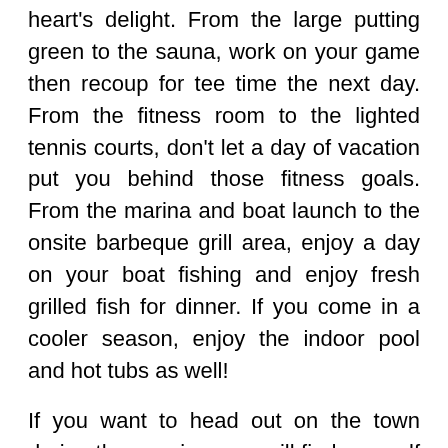heart's delight. From the large putting green to the sauna, work on your game then recoup for tee time the next day. From the fitness room to the lighted tennis courts, don't let a day of vacation put you behind those fitness goals. From the marina and boat launch to the onsite barbeque grill area, enjoy a day on your boat fishing and enjoy fresh grilled fish for dinner. If you come in a cooler season, enjoy the indoor pool and hot tubs as well!
If you want to head out on the town during the evening, you will find yourself close to so many Orange Beach and Gulf Shores favorites! Visit The Wharf for live music or a delicious meal at Playa at Sportsmans Marina or kick back at the Pleasure Island Tiki Bar. Just a minute drive to delight in dinner and drinks at Anchor Bar & Grill. Whatever you and your loved ones want to enjoy, you'll find it just a quick walk or drive from this centrally located vacation getaway!